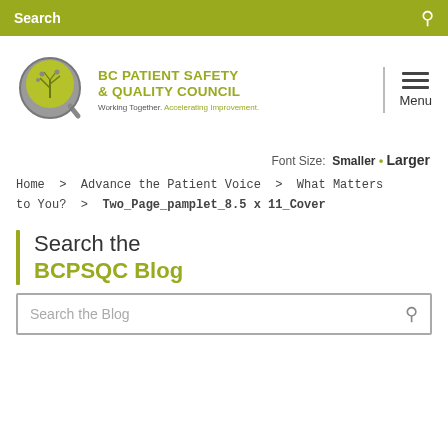Search
[Figure (logo): BC Patient Safety & Quality Council logo with circular tree icon. Text: BC PATIENT SAFETY & QUALITY COUNCIL. Working Together. Accelerating Improvement.]
Font Size: Smaller • Larger
Home > Advance the Patient Voice > What Matters to You? > Two_Page_pamplet_8.5 x 11_Cover
Search the BCPSQC Blog
Search the Blog